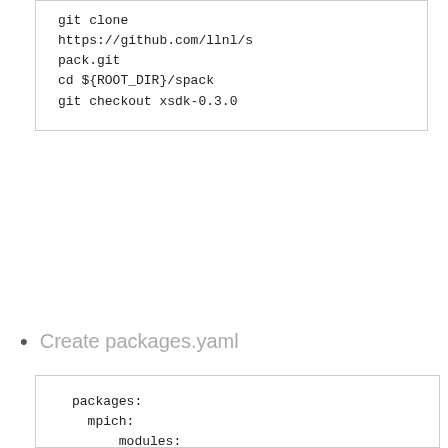git clone
https://github.com/llnl/spack.git
cd ${ROOT_DIR}/spack
git checkout xsdk-0.3.0
Create packages.yaml
packages:
  mpich:
      modules:

mpich@7.4.0%gcc@5.3.0
arch=cray: cray-
mpich/7.4.0

mpich@7.4.0%gcc@5.3.0
arch=cray-CNL-interlagos:
cray-mpich/7.4.0